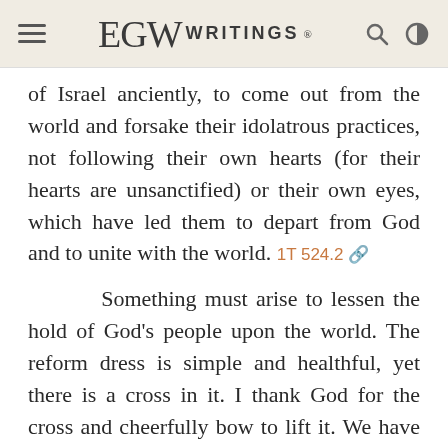EGW WRITINGS®
of Israel anciently, to come out from the world and forsake their idolatrous practices, not following their own hearts (for their hearts are unsanctified) or their own eyes, which have led them to depart from God and to unite with the world. 1T 524.2
Something must arise to lessen the hold of God's people upon the world. The reform dress is simple and healthful, yet there is a cross in it. I thank God for the cross and cheerfully bow to lift it. We have been so united with the world that we have lost sight of the cross and do not suffer for Christ's sake. 1T 525.1
We should not wish to invent something to make a cross; but if God presents to us a cross, we should